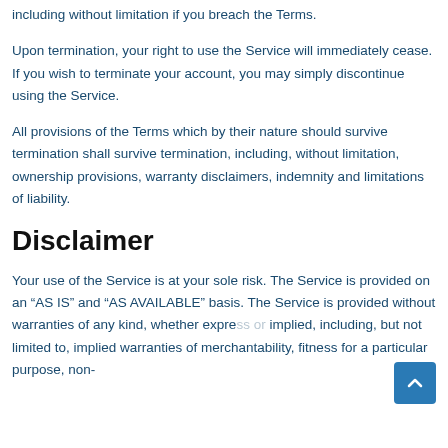including without limitation if you breach the Terms.
Upon termination, your right to use the Service will immediately cease. If you wish to terminate your account, you may simply discontinue using the Service.
All provisions of the Terms which by their nature should survive termination shall survive termination, including, without limitation, ownership provisions, warranty disclaimers, indemnity and limitations of liability.
Disclaimer
Your use of the Service is at your sole risk. The Service is provided on an “AS IS” and “AS AVAILABLE” basis. The Service is provided without warranties of any kind, whether express or implied, including, but not limited to, implied warranties of merchantability, fitness for a particular purpose, non-